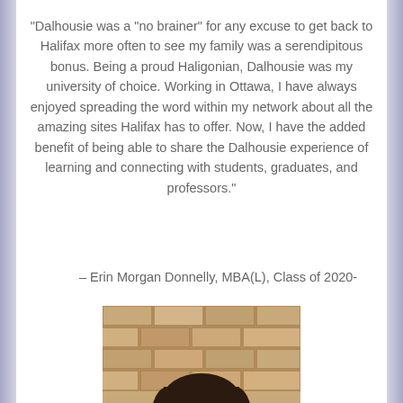“Dalhousie was a “no brainer” for any excuse to get back to Halifax more often to see my family was a serendipitous bonus.   Being a proud Haligonian, Dalhousie was my university of choice.  Working in Ottawa, I have always enjoyed spreading the word within my network about all the amazing sites Halifax has to offer.  Now, I have the added benefit of being able to share the Dalhousie experience of learning and connecting with students, graduates, and professors.”
– Erin Morgan Donnelly, MBA(L), Class of 2020-
[Figure (photo): Portrait photo of a woman with dark shoulder-length hair and glasses, smiling, standing in front of a stone brick wall.]